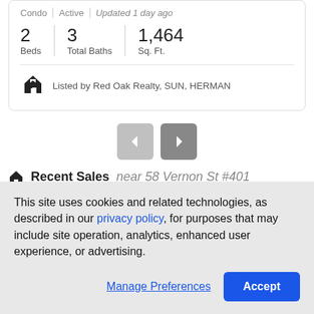Condo | Active | Updated 1 day ago
2 Beds | 3 Total Baths | 1,464 Sq. Ft.
Listed by Red Oak Realty, SUN, HERMAN
[Figure (other): Navigation buttons: left arrow (lighter gray) and right arrow (darker gray)]
Recent Sales near 58 Vernon St #401
Showing listing 1 of 24
This site uses cookies and related technologies, as described in our privacy policy, for purposes that may include site operation, analytics, enhanced user experience, or advertising.
Manage Preferences | Accept